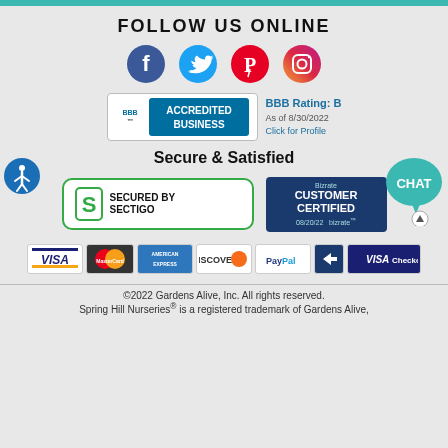FOLLOW US ONLINE
[Figure (logo): Social media icons: Facebook, Twitter, Pinterest, Instagram]
[Figure (logo): BBB Accredited Business badge with rating B as of 8/30/2022, Click for Profile]
Secure & Satisfied
[Figure (logo): Secured by Sectigo badge]
[Figure (logo): Bizrate Customer Certified 08/20/22 badge]
[Figure (logo): Payment method icons: Visa, MasterCard, American Express, Discover, PayPal, arrow, Visa Checkout]
©2022 Gardens Alive, Inc. All rights reserved. Spring Hill Nurseries® is a registered trademark of Gardens Alive,